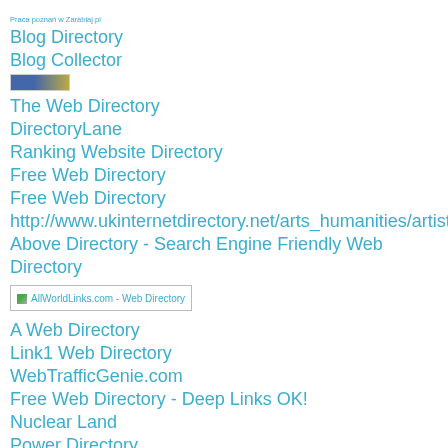Praca poznań w Zarabiaj.pl
Blog Directory
Blog Collector
[Figure (other): Small banner image/button for Blog Collector]
The Web Directory
DirectoryLane
Ranking Website Directory
Free Web Directory
Free Web Directory
http://www.ukinternetdirectory.net/arts_humanities/artists/
Above Directory - Search Engine Friendly Web Directory
[Figure (other): AllWorldLinks.com - Web Directory badge/banner image]
A Web Directory
Link1 Web Directory
WebTrafficGenie.com
Free Web Directory - Deep Links OK!
Nuclear Land
Power Directory
Reliance Directory
Submit Ocean
Sublime Link Directory